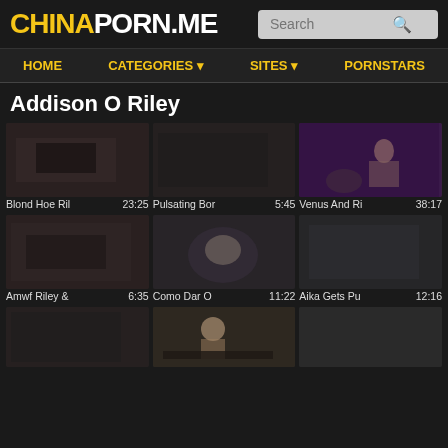CHINAPORN.ME
Addison O Riley
[Figure (screenshot): Video thumbnail 1 - dark scene]
Blond Hoe Ril  23:25
[Figure (screenshot): Video thumbnail 2 - dark scene]
Pulsating Bor  5:45
[Figure (screenshot): Video thumbnail 3 - Venus And Riley]
Venus And Ri  38:17
[Figure (screenshot): Video thumbnail 4 - dark scene]
Amwf Riley &  6:35
[Figure (screenshot): Video thumbnail 5 - Como Dar O]
Como Dar O  11:22
[Figure (screenshot): Video thumbnail 6 - Aika Gets Pu]
Aika Gets Pu  12:16
[Figure (screenshot): Video thumbnail 7 - partial row bottom]
[Figure (screenshot): Video thumbnail 8 - partial row bottom]
[Figure (screenshot): Video thumbnail 9 - partial row bottom]